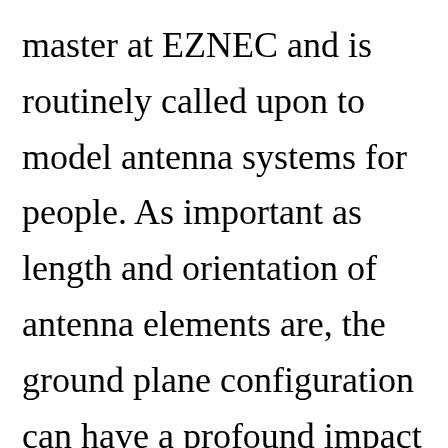master at EZNEC and is routinely called upon to model antenna systems for people. As important as length and orientation of antenna elements are, the ground plane configuration can have a profound impact on the radiation pattern